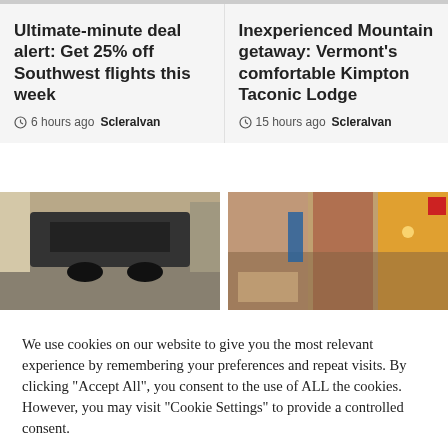Ultimate-minute deal alert: Get 25% off Southwest flights this week
6 hours ago  Scleralvan
Inexperienced Mountain getaway: Vermont's comfortable Kimpton Taconic Lodge
15 hours ago  Scleralvan
[Figure (photo): Street scene with car and urban buildings]
[Figure (photo): City street with illuminated storefronts at dusk]
We use cookies on our website to give you the most relevant experience by remembering your preferences and repeat visits. By clicking "Accept All", you consent to the use of ALL the cookies. However, you may visit "Cookie Settings" to provide a controlled consent.
Cookie Settings
Accept All